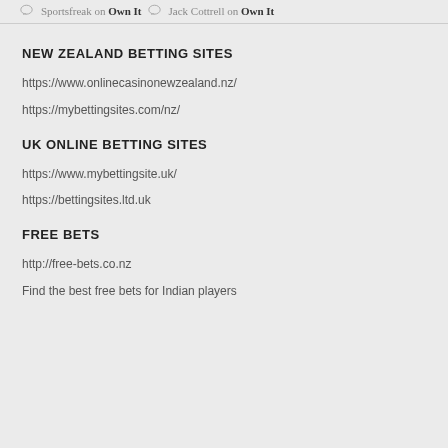Sportsfreak on Own It  Jack Cottrell on Own It
NEW ZEALAND BETTING SITES
https://www.onlinecasinonewzealand.nz/
https://mybettingsites.com/nz/
UK ONLINE BETTING SITES
https://www.mybettingsite.uk/
https://bettingsites.ltd.uk
FREE BETS
http://free-bets.co.nz
Find the best free bets for Indian players